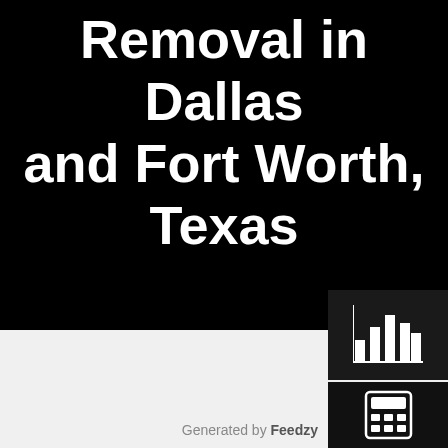Removal in Dallas and Fort Worth, Texas
[Figure (illustration): Bar chart icon — white bar chart graphic on dark background]
[Figure (illustration): Calculator icon — white calculator graphic on dark background]
Generated by Feedzy